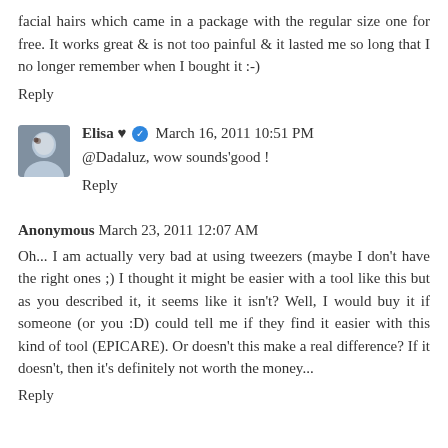facial hairs which came in a package with the regular size one for free. It works great & is not too painful & it lasted me so long that I no longer remember when I bought it :-)
Reply
Elisa ♥ ✅ March 16, 2011 10:51 PM
@Dadaluz, wow sounds'good !
Reply
Anonymous March 23, 2011 12:07 AM
Oh... I am actually very bad at using tweezers (maybe I don't have the right ones ;) I thought it might be easier with a tool like this but as you described it, it seems like it isn't? Well, I would buy it if someone (or you :D) could tell me if they find it easier with this kind of tool (EPICARE). Or doesn't this make a real difference? If it doesn't, then it's definitely not worth the money...
Reply